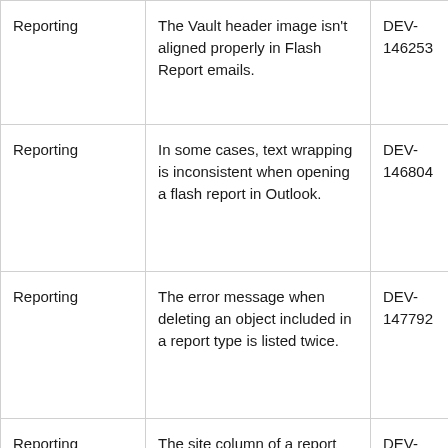| Reporting | The Vault header image isn't aligned properly in Flash Report emails. | DEV-146253 |
| Reporting | In some cases, text wrapping is inconsistent when opening a flash report in Outlook. | DEV-146804 |
| Reporting | The error message when deleting an object included in a report type is listed twice. | DEV-147792 |
| Reporting | The site column of a report overflows to the next column after exporting to Excel | DEV-148039 |